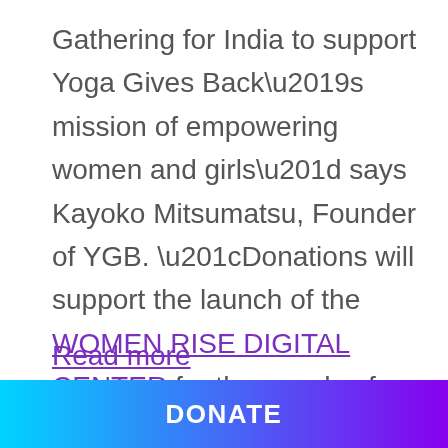Gathering for India to support Yoga Gives Back’s mission of empowering women and girls” says Kayoko Mitsumatsu, Founder of YGB. “Donations will support the launch of the WOMEN RISE DIGITAL CENTER for thousands of girls and women to have computers and Internet access in rural villages of West Bengal, in addition to our education and microloan programs which support more than 2400 women and children.
Read more